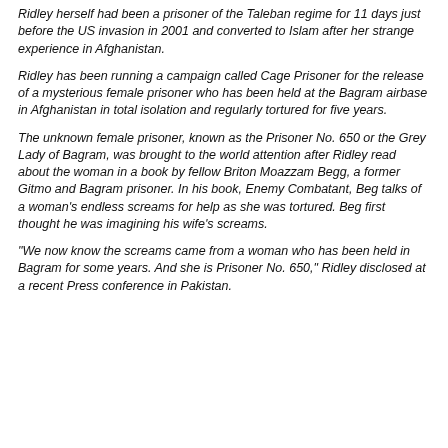Ridley herself had been a prisoner of the Taleban regime for 11 days just before the US invasion in 2001 and converted to Islam after her strange experience in Afghanistan.
Ridley has been running a campaign called Cage Prisoner for the release of a mysterious female prisoner who has been held at the Bagram airbase in Afghanistan in total isolation and regularly tortured for five years.
The unknown female prisoner, known as the Prisoner No. 650 or the Grey Lady of Bagram, was brought to the world attention after Ridley read about the woman in a book by fellow Briton Moazzam Begg, a former Gitmo and Bagram prisoner. In his book, Enemy Combatant, Beg talks of a woman's endless screams for help as she was tortured. Beg first thought he was imagining his wife's screams.
"We now know the screams came from a woman who has been held in Bagram for some years. And she is Prisoner No. 650," Ridley disclosed at a recent Press conference in Pakistan.